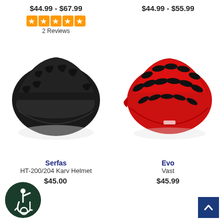$44.99 - $67.99
[Figure (other): 5 orange star rating boxes]
2 Reviews
$44.99 - $55.99
[Figure (photo): Black bicycle helmet (Serfas HT-200/204 Karv Helmet)]
[Figure (photo): Red bicycle helmet (Evo Vast)]
Serfas
HT-200/204 Karv Helmet
$45.00
Evo
Vast
$45.99
[Figure (illustration): Accessibility wheelchair icon on dark green circle background]
[Figure (other): Back to top button with upward chevron on dark blue background]